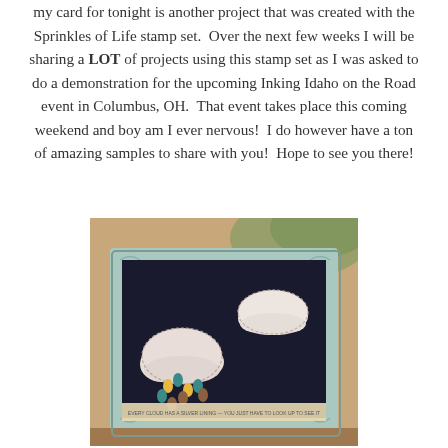my card for tonight is another project that was created with the Sprinkles of Life stamp set. Over the next few weeks I will be sharing a LOT of projects using this stamp set as I was asked to do a demonstration for the upcoming Inking Idaho on the Road event in Columbus, OH. That event takes place this coming weekend and boy am I ever nervous! I do however have a ton of amazing samples to share with you! Hope to see you there!
[Figure (photo): A handmade greeting card with a light blue frame and dark/black background featuring two white cloud die-cuts with colorful raindrops (teal, yellow, and brown) falling beneath the left cloud. A banner at the bottom reads 'EVERY CLOUD HAS A SILVER LINING - YOU JUST HAVE TO LOOK UP TO SEE IT'. The card is displayed propped up on a wooden surface with greenery in the background.]